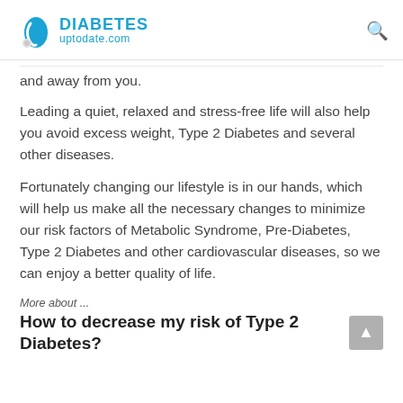DIABETES uptodate.com
and away from you.
Leading a quiet, relaxed and stress-free life will also help you avoid excess weight, Type 2 Diabetes and several other diseases.
Fortunately changing our lifestyle is in our hands, which will help us make all the necessary changes to minimize our risk factors of Metabolic Syndrome, Pre-Diabetes, Type 2 Diabetes and other cardiovascular diseases, so we can enjoy a better quality of life.
More about ...
How to decrease my risk of Type 2 Diabetes?